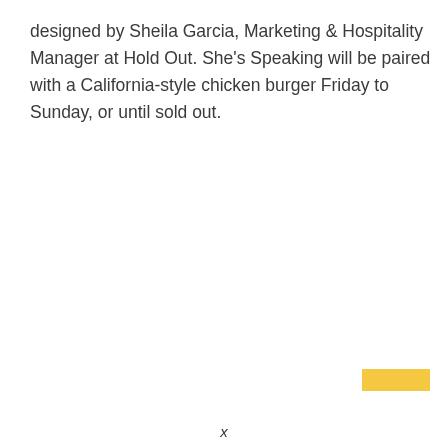designed by Sheila Garcia, Marketing & Hospitality Manager at Hold Out. She's Speaking will be paired with a California-style chicken burger Friday to Sunday, or until sold out.
[Figure (other): Small yellow/gold rectangle in bottom-right area of page]
x